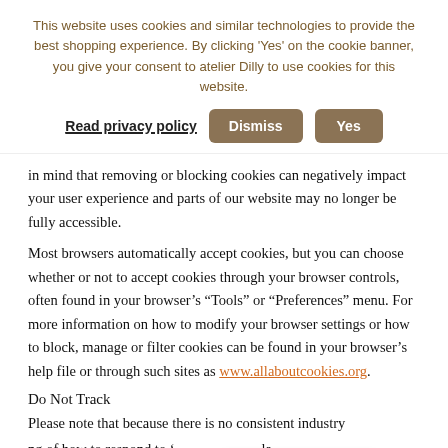This website uses cookies and similar technologies to provide the best shopping experience. By clicking 'Yes' on the cookie banner, you give your consent to atelier Dilly to use cookies for this website.
Read privacy policy | Dismiss | Yes
in mind that removing or blocking cookies can negatively impact your user experience and parts of our website may no longer be fully accessible.
Most browsers automatically accept cookies, but you can choose whether or not to accept cookies through your browser controls, often found in your browser’s “Tools” or “Preferences” menu. For more information on how to modify your browser settings or how to block, manage or filter cookies can be found in your browser’s help file or through such sites as www.allaboutcookies.org.
Do Not Track
Please note that because there is no consistent industry
ng of how to respond to ‘... la
our data collection and u... 1 w
[Figure (other): Dutch language selector with Netherlands flag and arrow]
[Figure (other): WhatsApp chat tooltip saying 'Vraag? Stuur een WhatsApp bericht.' with WhatsApp button]